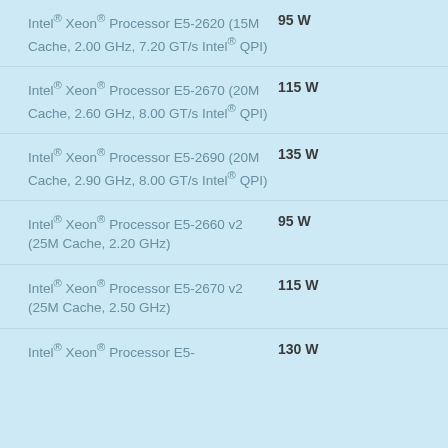Intel® Xeon® Processor E5-2620 (15M Cache, 2.00 GHz, 7.20 GT/s Intel® QPI)  95 W
Intel® Xeon® Processor E5-2670 (20M Cache, 2.60 GHz, 8.00 GT/s Intel® QPI)  115 W
Intel® Xeon® Processor E5-2690 (20M Cache, 2.90 GHz, 8.00 GT/s Intel® QPI)  135 W
Intel® Xeon® Processor E5-2660 v2 (25M Cache, 2.20 GHz)  95 W
Intel® Xeon® Processor E5-2670 v2 (25M Cache, 2.50 GHz)  115 W
Intel® Xeon® Processor E5-2667 v2 (25M Cache, 3.70 GHz)  130 W